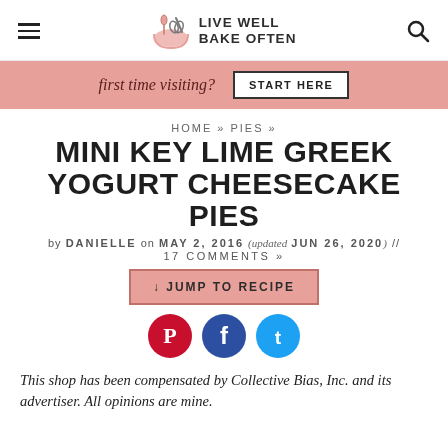LIVE WELL BAKE OFTEN
first time visiting? START HERE
HOME » PIES »
MINI KEY LIME GREEK YOGURT CHEESECAKE PIES
by DANIELLE on MAY 2, 2016 (updated JUN 26, 2020) // 17 COMMENTS »
↓ JUMP TO RECIPE
[Figure (illustration): Three social media share buttons: Pinterest (red), Facebook (dark blue), Twitter (light blue)]
This shop has been compensated by Collective Bias, Inc. and its advertiser. All opinions are mine.